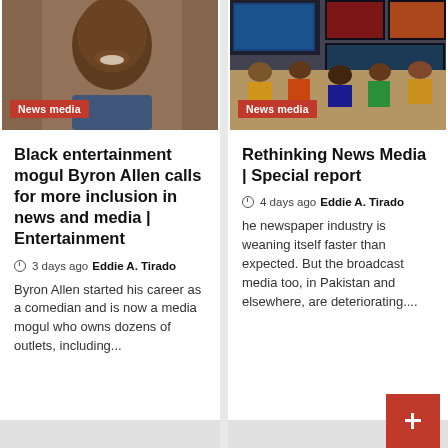[Figure (photo): Smiling Black man in a suit jacket, close-up portrait]
News media
Black entertainment mogul Byron Allen calls for more inclusion in news and media | Entertainment
3 days ago  Eddie A. Tirado
Byron Allen started his career as a comedian and is now a media mogul who owns dozens of outlets, including...
[Figure (photo): Newsroom scene with multiple TV screens and people working]
News media
Rethinking News Media | Special report
4 days ago  Eddie A. Tirado
he newspaper industry is weaning itself faster than expected. But the broadcast media too, in Pakistan and elsewhere, are deteriorating....